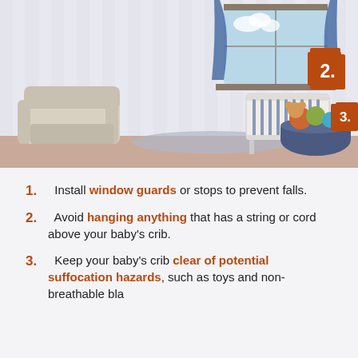[Figure (illustration): Illustrated baby nursery room with a crib, armchair, window with curtains, and a basket of toys. Orange numbered squares (2, 3, 4) are placed at key hazard locations in the room.]
1. Install window guards or stops to prevent falls.
2. Avoid hanging anything that has a string or cord above your baby's crib.
3. Keep your baby's crib clear of potential suffocation hazards, such as toys and non-breathable blankets.